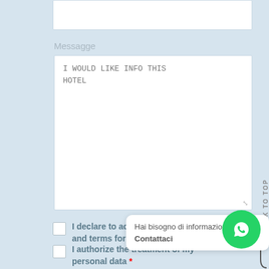[Figure (screenshot): Top portion of a web form input field, cropped at the top]
Messagge
[Figure (screenshot): Textarea input field containing the text: I WOULD LIKE INFO THIS HOTEL]
I declare to accept the conditions and terms for the Policy Priv...
[Figure (infographic): WhatsApp floating button with tooltip: Hai bisogno di informazioni? Contattaci]
I authorize the treatment of my personal data *
BACK TO TOP